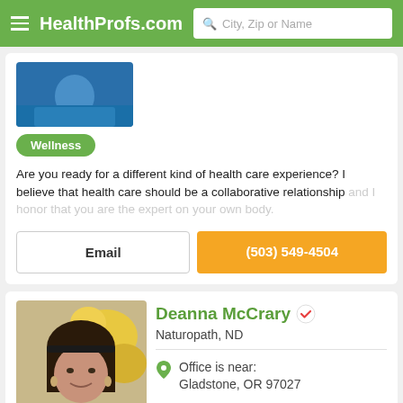HealthProfs.com  City, Zip or Name
[Figure (photo): Partial profile photo of a person in a blue top, cropped at top of card]
Wellness
Are you ready for a different kind of health care experience? I believe that health care should be a collaborative relationship and I honor that you are the expert on your own body.
Email
(503) 549-4504
[Figure (photo): Profile photo of Deanna McCrary, a woman with dark hair, smiling, outdoors with yellow flowers in background]
Deanna McCrary
Naturopath, ND
Office is near: Gladstone, OR 97027